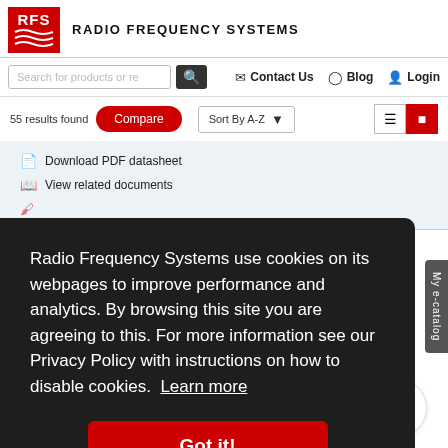[Figure (logo): RFS Radio Frequency Systems logo — red box with RFS text and wave lines, followed by RADIO FREQUENCY SYSTEMS text]
Search for products or re | Contact Us | Blog | Login
55 results found
Compare | Sort By A-Z
Download PDF datasheet
View related documents
Radio Frequency Systems use cookies on its webpages to improve performance and analytics. By browsing this site you are agreeing to this. For more information see our Privacy Policy with instructions on how to disable cookies. Learn more
Got it!